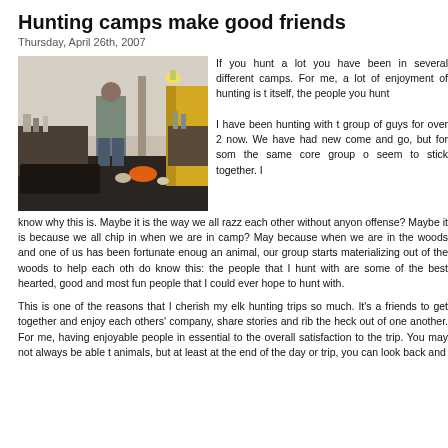Hunting camps make good friends
Thursday, April 26th, 2007
[Figure (photo): Interior of a hunting camp tent with a man standing at a table, gear and equipment visible, orange hat on the floor, yellow jacket hanging on the right]
If you hunt a lot you have been in several different camps. For me, a lot of enjoyment of hunting is the itself, the people you hunt I have been hunting with the group of guys for over 2 now. We have had new come and go, but for some the same core group seem to stick together. I know why this is. Maybe it is the way we all razz each other without anyone offense? Maybe it is because we all chip in when we are in camp? May because when we are in the woods and one of us has been fortunate enough an animal, our group starts materializing out of the woods to help each oth do know this: the people that I hunt with are some of the best hearted, good and most fun people that I could ever hope to hunt with.
This is one of the reasons that I cherish my elk hunting trips so much. It's a friends to get together and enjoy each others' company, share stories and rib the heck out of one another. For me, having enjoyable people in essential to the overall satisfaction to the trip. You may not always be able animals, but at least at the end of the day or trip, you can look back and